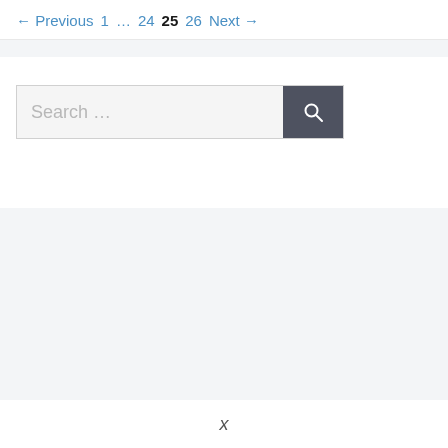← Previous  1  ...  24  25  26  Next →
[Figure (other): Search input box with placeholder text 'Search ...' and a dark gray search button with magnifying glass icon]